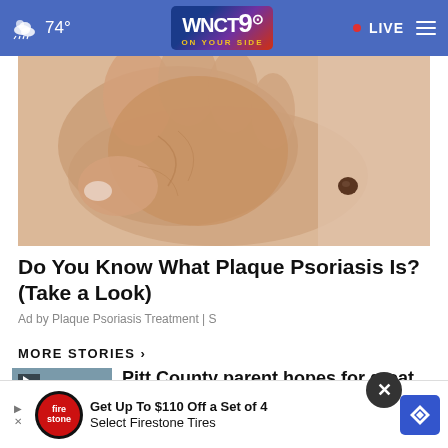74° WNCT 9 ON YOUR SIDE • LIVE
[Figure (photo): Close-up photo of a hand touching a skin mole on a person's torso, illustrating plaque psoriasis]
Do You Know What Plaque Psoriasis Is? (Take a Look)
Ad by Plaque Psoriasis Treatment | S
MORE STORIES ›
Pitt County parent hopes for great school year …
[Figure (photo): Thumbnail image for second news story]
back Brian Robinson
Get Up To $110 Off a Set of 4 Select Firestone Tires